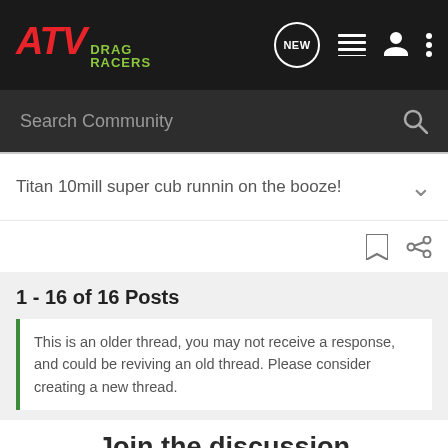ATV DRAG RACERS
Search Community
Titan 10mill super cub runnin on the booze!
1 - 16 of 16 Posts
This is an older thread, you may not receive a response, and could be reviving an old thread. Please consider creating a new thread.
Join the discussion
[Figure (screenshot): ON X OFFROAD advertisement banner — OFFROAD TRAIL MAPS & GPS, Try for Free]